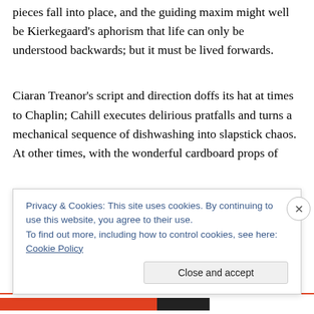pieces fall into place, and the guiding maxim might well be Kierkegaard's aphorism that life can only be understood backwards; but it must be lived forwards.
Ciaran Treanor's script and direction doffs its hat at times to Chaplin; Cahill executes delirious pratfalls and turns a mechanical sequence of dishwashing into slapstick chaos. At other times, with the wonderful cardboard props of
Privacy & Cookies: This site uses cookies. By continuing to use this website, you agree to their use.
To find out more, including how to control cookies, see here: Cookie Policy
Close and accept